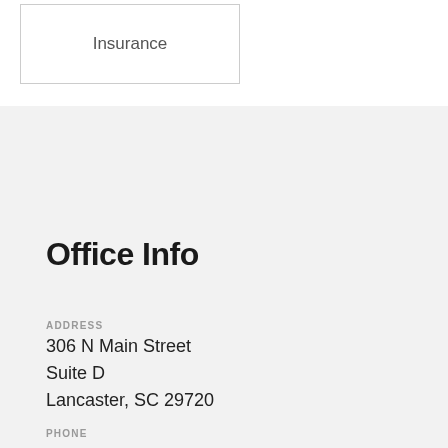[Figure (other): Box with the word Insurance inside, bordered rectangle]
Office Info
ADDRESS
306 N Main Street
Suite D
Lancaster, SC 29720
PHONE
(803) 283-3371
FAX
(803) 285-4679